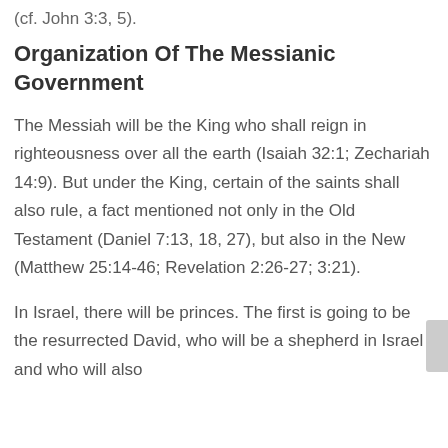(cf. John 3:3, 5).
Organization Of The Messianic Government
The Messiah will be the King who shall reign in righteousness over all the earth (Isaiah 32:1; Zechariah 14:9). But under the King, certain of the saints shall also rule, a fact mentioned not only in the Old Testament (Daniel 7:13, 18, 27), but also in the New (Matthew 25:14-46; Revelation 2:26-27; 3:21).
In Israel, there will be princes. The first is going to be the resurrected David, who will be a shepherd in Israel and who will also